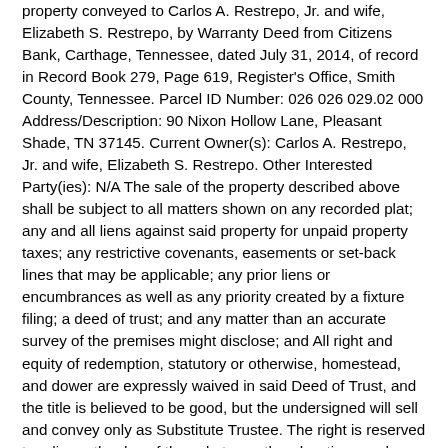property conveyed to Carlos A. Restrepo, Jr. and wife, Elizabeth S. Restrepo, by Warranty Deed from Citizens Bank, Carthage, Tennessee, dated July 31, 2014, of record in Record Book 279, Page 619, Register's Office, Smith County, Tennessee. Parcel ID Number: 026 026 029.02 000 Address/Description: 90 Nixon Hollow Lane, Pleasant Shade, TN 37145. Current Owner(s): Carlos A. Restrepo, Jr. and wife, Elizabeth S. Restrepo. Other Interested Party(ies): N/A The sale of the property described above shall be subject to all matters shown on any recorded plat; any and all liens against said property for unpaid property taxes; any restrictive covenants, easements or set-back lines that may be applicable; any prior liens or encumbrances as well as any priority created by a fixture filing; a deed of trust; and any matter than an accurate survey of the premises might disclose; and All right and equity of redemption, statutory or otherwise, homestead, and dower are expressly waived in said Deed of Trust, and the title is believed to be good, but the undersigned will sell and convey only as Substitute Trustee. The right is reserved to adjourn the day of the sale to another day, time, and place certain without further publication, upon announcement at the time and place for the sale set forth above. This office is attempting to